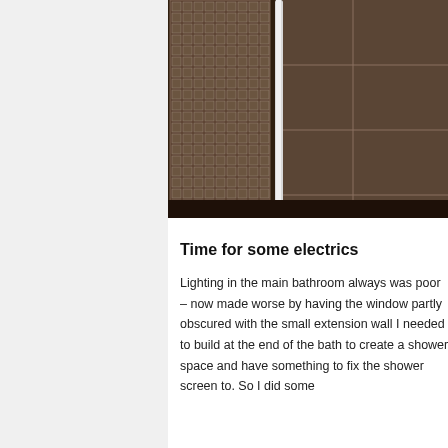[Figure (photo): Bathroom interior showing mosaic tile wall with small brown square tiles, a larger plain tile section, a white metal pipe/rail, and a dark floor — appears to be a shower area under construction or renovation.]
Time for some electrics
Lighting in the main bathroom always was poor – now made worse by having the window partly obscured with the small extension wall I needed to build at the end of the bath to create a shower space and have something to fix the shower screen to. So I did some